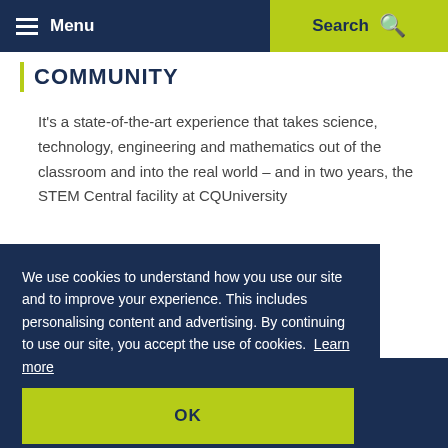Menu | Search
COMMUNITY
It's a state-of-the-art experience that takes science, technology, engineering and mathematics out of the classroom and into the real world – and in two years, the STEM Central facility at CQUniversity
We use cookies to understand how you use our site and to improve your experience. This includes personalising content and advertising. By continuing to use our site, you accept the use of cookies. Learn more
OK
Three Rockhampton primary school children went